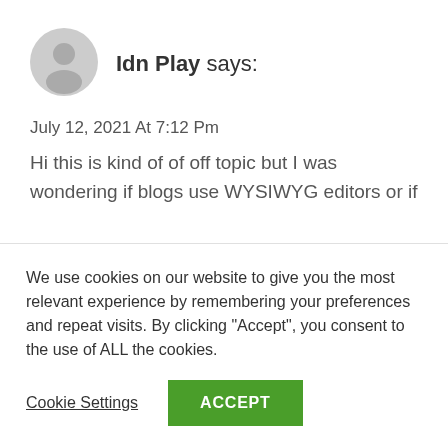[Figure (illustration): Generic grey user avatar icon (circle with person silhouette)]
Idn Play says:
July 12, 2021 At 7:12 Pm
Hi this is kind of of off topic but I was wondering if blogs use WYSIWYG editors or if you have to manually code with HTML. I'm starting a blog soon but have no coding skills so I wanted to get guidance
We use cookies on our website to give you the most relevant experience by remembering your preferences and repeat visits. By clicking “Accept”, you consent to the use of ALL the cookies.
Cookie Settings
ACCEPT